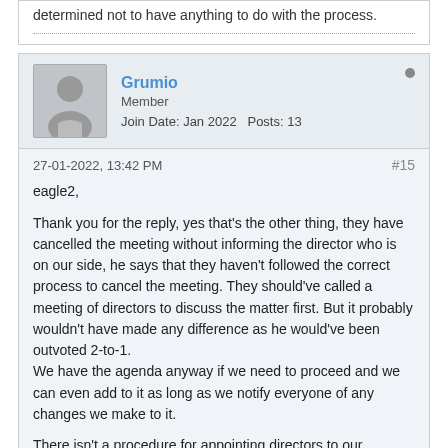determined not to have anything to do with the process.
Grumio
Member
Join Date: Jan 2022   Posts: 13
27-01-2022, 13:42 PM
#15
eagle2,
Thank you for the reply, yes that's the other thing, they have cancelled the meeting without informing the director who is on our side, he says that they haven't followed the correct process to cancel the meeting. They should've called a meeting of directors to discuss the matter first. But it probably wouldn't have made any difference as he would've been outvoted 2-to-1.
We have the agenda anyway if we need to proceed and we can even add to it as long as we notify everyone of any changes we make to it.
There isn't a procedure for appointing directors to our residence